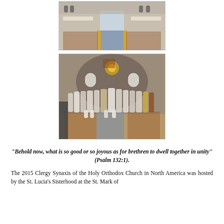[Figure (photo): Interior of a meeting room with long tables arranged in a U-shape, chairs, a blue and yellow carpet, and people seated at the tables.]
[Figure (photo): Group photo of Orthodox clergy and attendants in white vestments standing and kneeling inside an Orthodox church with a chandelier and iconostasis in the background.]
“Behold now, what is so good or so joyous as for brethren to dwell together in unity” (Psalm 132:1).
The 2015 Clergy Synaxis of the Holy Orthodox Church in North America was hosted by the St. Lucia’s Sisterhood at the St. Mark of